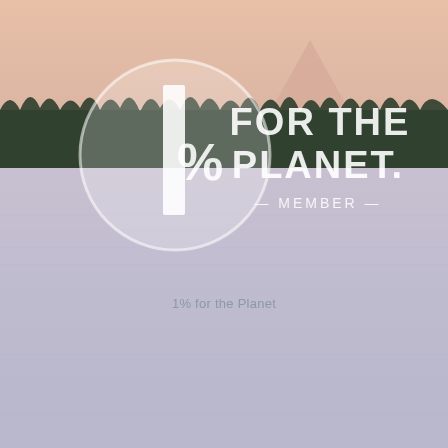[Figure (logo): 1% for the Planet member logo — a large white circle with the numeral '1' as a vertical bar and '%' sign, overlaid on a landscape photo of a calm lake at sunset with silhouetted treeline and mountain in the background; text 'FOR THE PLANET' in large white bold sans-serif letters and '— MEMBER —' in smaller white letters to the right of the circle logo]
1% for the Planet